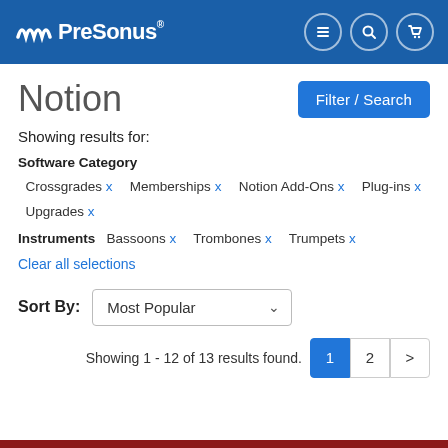PreSonus
Notion
Showing results for:
Software Category Crossgrades x Memberships x Notion Add-Ons x Plug-ins x Upgrades x
Instruments Bassoons x Trombones x Trumpets x
Clear all selections
Sort By: Most Popular
Showing 1 - 12 of 13 results found.